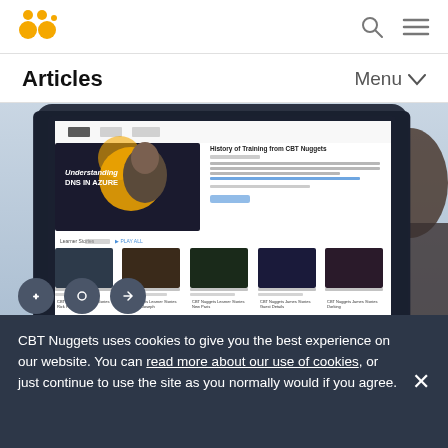CBT Nuggets logo, search icon, menu icon
Articles    Menu
[Figure (screenshot): Screenshot of CBT Nuggets website showing a course page with 'Understanding DNS in Azure' video thumbnail and a playlist of learner story videos below it, displayed on a monitor with a person visible in the background.]
CBT Nuggets uses cookies to give you the best experience on our website. You can read more about our use of cookies, or just continue to use the site as you normally would if you agree.